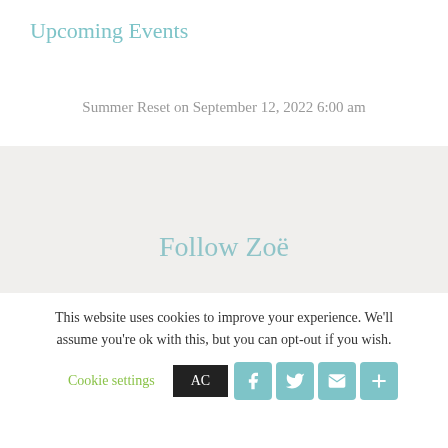Upcoming Events
Summer Reset on September 12, 2022 6:00 am
Follow Zoë
This website uses cookies to improve your experience. We'll assume you're ok with this, but you can opt-out if you wish.
Cookie settings  ACCEPT